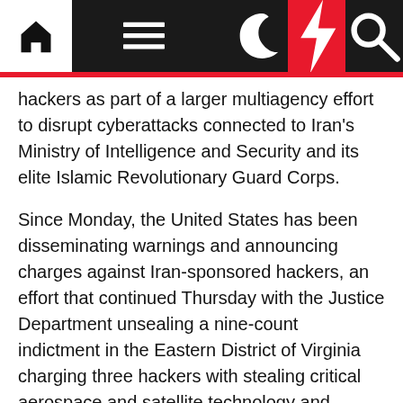Navigation bar with home, menu, moon, lightning bolt, and search icons
hackers as part of a larger multiagency effort to disrupt cyberattacks connected to Iran's Ministry of Intelligence and Security and its elite Islamic Revolutionary Guard Corps.
Since Monday, the United States has been disseminating warnings and announcing charges against Iran-sponsored hackers, an effort that continued Thursday with the Justice Department unsealing a nine-count indictment in the Eastern District of Virginia charging three hackers with stealing critical aerospace and satellite technology and resources.
Treasury Secretary Steven Mnuchin announced sanctions imposed against the Iranian cyber threat group called Advanced Persistent Threat 39, including 45 associates and a front company over a